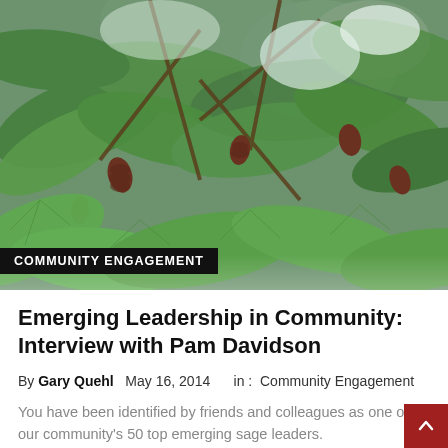[Figure (photo): Close-up photograph of green pine tree branches with pine cones and needles against a bright sky]
COMMUNITY ENGAGEMENT
Emerging Leadership in Community: Interview with Pam Davidson
By Gary Quehl   May 16, 2014     in :  Community Engagement
You have been identified by friends and colleagues as one of our community's 50 top emerging sage leaders.
Read More  ›